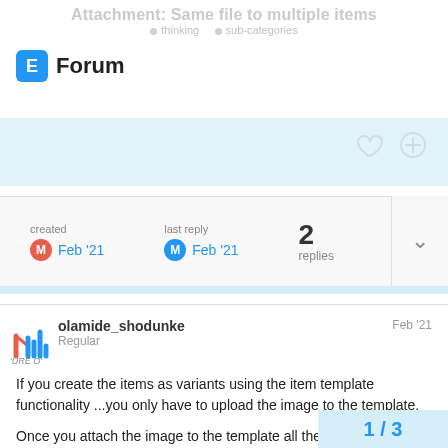Forum
Attachment: Same file to multiple items
created Feb '21  last reply Feb '21  2 replies
olamide_shodunke Regular Feb '21
If you create the items as variants using the item template functionality ...you only have to upload the image to the template.

Once you attach the image to the template all the variants will inherit the image and if you change the image the variants image will change too.

Regards
1 / 3